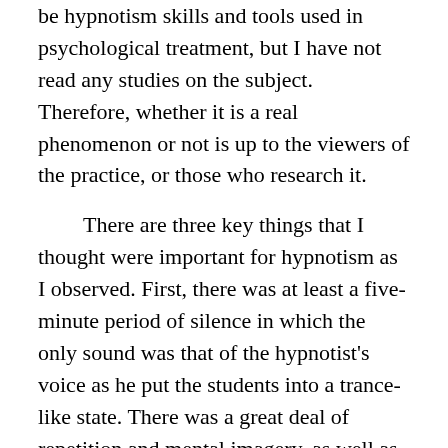be hypnotism skills and tools used in psychological treatment, but I have not read any studies on the subject. Therefore, whether it is a real phenomenon or not is up to the viewers of the practice, or those who research it.
There are three key things that I thought were important for hypnotism as I observed. First, there was at least a five-minute period of silence in which the only sound was that of the hypnotist's voice as he put the students into a trance-like state. There was a great deal of repetition and mental imagery, as well as suggestion.
Secondly, there was a portion in which the hypnotist went person to person and put them to